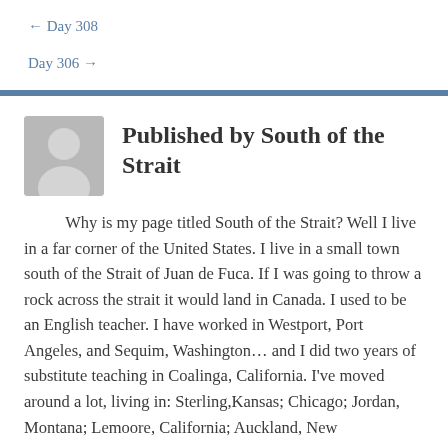← Day 308
Day 306 →
Published by South of the Strait
Why is my page titled South of the Strait? Well I live in a far corner of the United States. I live in a small town south of the Strait of Juan de Fuca. If I was going to throw a rock across the strait it would land in Canada. I used to be an English teacher. I have worked in Westport, Port Angeles, and Sequim, Washington… and I did two years of substitute teaching in Coalinga, California. I've moved around a lot, living in: Sterling, Kansas; Chicago; Jordan, Montana; Lemoore, California; Auckland, New